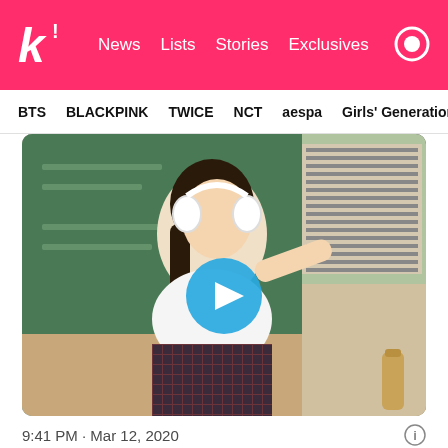k! News  Lists  Stories  Exclusives
BTS  BLACKPINK  TWICE  NCT  aespa  Girls' Generation
[Figure (screenshot): A young woman wearing white headphones and a school uniform (white shirt and plaid skirt) dancing in a classroom setting with a green chalkboard in the background. A blue circular play button is overlaid in the center of the image.]
9:41 PM · Mar 12, 2020